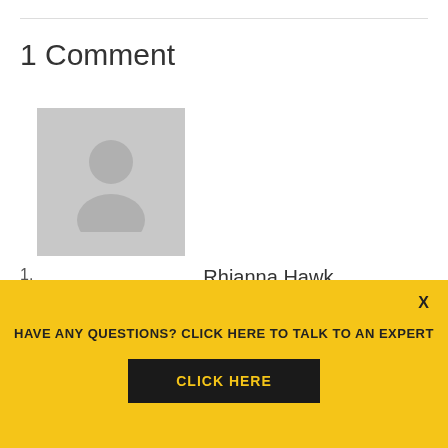1 Comment
[Figure (illustration): Generic grey avatar placeholder image showing a silhouette of a person (head and shoulders) on a light grey background.]
Rhianna Hawk
September 19, 2018 at 5:45 pm
HAVE ANY QUESTIONS? CLICK HERE TO TALK TO AN EXPERT
CLICK HERE